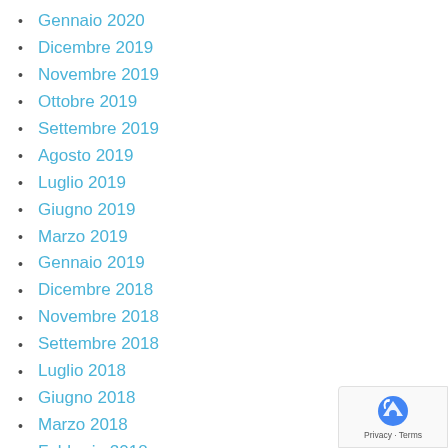Gennaio 2020
Dicembre 2019
Novembre 2019
Ottobre 2019
Settembre 2019
Agosto 2019
Luglio 2019
Giugno 2019
Marzo 2019
Gennaio 2019
Dicembre 2018
Novembre 2018
Settembre 2018
Luglio 2018
Giugno 2018
Marzo 2018
Febbraio 2018
Gennaio 2018
Dicembre 2017
Novembre 2017
Ottobre 2017
Maggio 2017